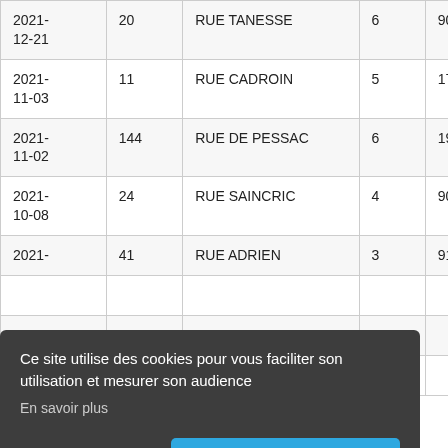| 2021-12-21 | 20 | RUE TANESSE | 6 | 90 | 232 |
| 2021-11-03 | 11 | RUE CADROIN | 5 | 170 | 106 |
| 2021-11-02 | 144 | RUE DE PESSAC | 6 | 190 | 79 |
| 2021-10-08 | 24 | RUE SAINCRIC | 4 | 90 | 80 |
| 2021- | 41 | RUE ADRIEN | 3 | 91 | 107 |
|  |  |  |  |  | 87 |
|  |  |  |  |  | 96 |
| 2021-10-01 |  |  |  |  | 39 |
Ce site utilise des cookies pour vous faciliter son utilisation et mesurer son audience
En savoir plus
Je refuse
Ok